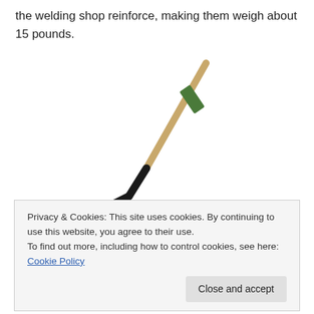the welding shop reinforce, making them weigh about 15 pounds.
[Figure (photo): A garden hoe or cultivator tool with a wooden handle and a black metal head with tines, shown at an angle against a white background.]
Privacy & Cookies: This site uses cookies. By continuing to use this website, you agree to their use.
To find out more, including how to control cookies, see here: Cookie Policy
[Close and accept]
enjoyable. With each swing of this heavy weight I could